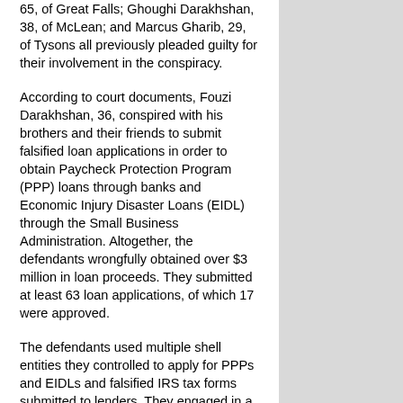65, of Great Falls; Ghoughi Darakhshan, 38, of McLean; and Marcus Gharib, 29, of Tysons all previously pleaded guilty for their involvement in the conspiracy.
According to court documents, Fouzi Darakhshan, 36, conspired with his brothers and their friends to submit falsified loan applications in order to obtain Paycheck Protection Program (PPP) loans through banks and Economic Injury Disaster Loans (EIDL) through the Small Business Administration. Altogether, the defendants wrongfully obtained over $3 million in loan proceeds. They submitted at least 63 loan applications, of which 17 were approved.
The defendants used multiple shell entities they controlled to apply for PPPs and EIDLs and falsified IRS tax forms submitted to lenders. They engaged in a group WhatsApp chat devoted to executing the fraud scheme, openly discussing falsifying documents and inflating the numbers of employees, company revenues, and payroll figures in order to induce lenders to make the loans.